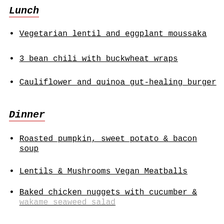Lunch
Vegetarian lentil and eggplant moussaka
3 bean chili with buckwheat wraps
Cauliflower and quinoa gut-healing burger
Dinner
Roasted pumpkin, sweet potato & bacon soup
Lentils & Mushrooms Vegan Meatballs
Baked chicken nuggets with cucumber & wakame seaweed salad